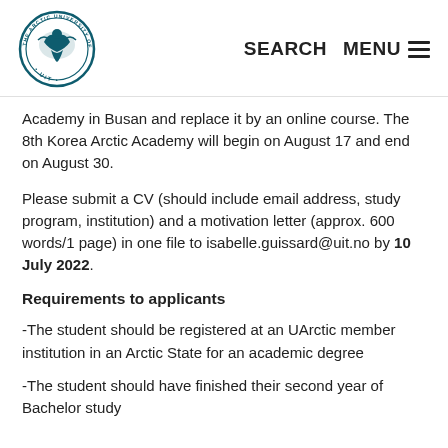SEARCH  MENU
Academy in Busan and replace it by an online course. The 8th Korea Arctic Academy will begin on August 17 and end on August 30.
Please submit a CV (should include email address, study program, institution) and a motivation letter (approx. 600 words/1 page) in one file to isabelle.guissard@uit.no by 10 July 2022.
Requirements to applicants
-The student should be registered at an UArctic member institution in an Arctic State for an academic degree
-The student should have finished their second year of Bachelor study